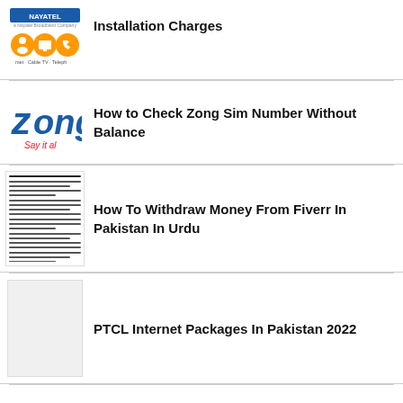[Figure (logo): NAYATEL logo with internet, Cable TV, Telephone icons]
Installation Charges
[Figure (logo): Zong 'Say it all' logo]
How to Check Zong Sim Number Without Balance
[Figure (screenshot): Urdu text article screenshot about Fiverr withdrawal]
How To Withdraw Money From Fiverr In Pakistan In Urdu
[Figure (photo): Blank/placeholder thumbnail for PTCL article]
PTCL Internet Packages In Pakistan 2022